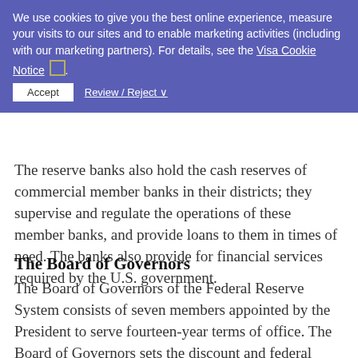Reserve Banks' presidents serve as members of the Federal member committee that is responsible for governing open market operations, the buying and selling of government securities, which is the Fed's primary tool for influencing the money supply.
The reserve banks also hold the cash reserves of commercial member banks in their districts; they supervise and regulate the operations of these member banks, and provide loans to them in times of need. The banks also provide for financial services required by the U.S. government.
The Board of Governors
The Board of Governors of the Federal Reserve System consists of seven members appointed by the President to serve fourteen-year terms of office. The Board of Governors sets the discount and federal funds rate policies and the reserve requirements placed upon member banks, all of which are our primary discounting instruments to control the